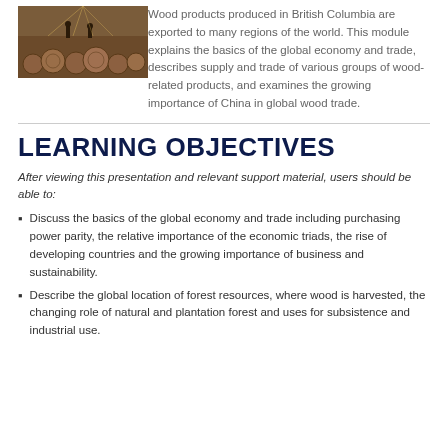[Figure (photo): Photo of logs and timber workers in a forest setting, warm tones]
Wood products produced in British Columbia are exported to many regions of the world. This module explains the basics of the global economy and trade, describes supply and trade of various groups of wood-related products, and examines the growing importance of China in global wood trade.
LEARNING OBJECTIVES
After viewing this presentation and relevant support material, users should be able to:
Discuss the basics of the global economy and trade including purchasing power parity, the relative importance of the economic triads, the rise of developing countries and the growing importance of business and sustainability.
Describe the global location of forest resources, where wood is harvested, the changing role of natural and plantation forest and uses for subsistence and industrial use.